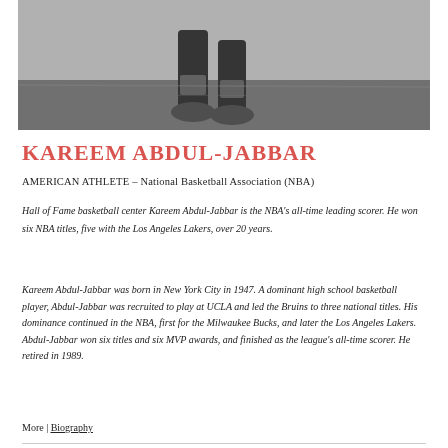[Figure (photo): Black and white photograph of a basketball player, showing legs and sneakers on a court]
KAREEM ABDUL-JABBAR
AMERICAN ATHLETE – National Basketball Association (NBA)
Hall of Fame basketball center Kareem Abdul-Jabbar is the NBA's all-time leading scorer. He won six NBA titles, five with the Los Angeles Lakers, over 20 years.
Kareem Abdul-Jabbar was born in New York City in 1947. A dominant high school basketball player, Abdul-Jabbar was recruited to play at UCLA and led the Bruins to three national titles. His dominance continued in the NBA, first for the Milwaukee Bucks, and later the Los Angeles Lakers. Abdul-Jabbar won six titles and six MVP awards, and finished as the league's all-time scorer. He retired in 1989.
More | Biography